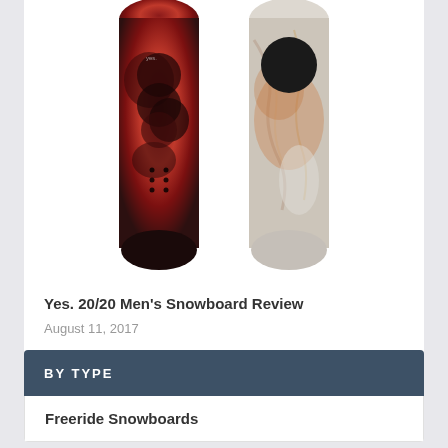[Figure (photo): Two snowboards side by side — left one has a dark red/maroon nebula-like graphic design with circular overlapping shapes and small text 'yes', right one has a marble/stone texture in grey, white and rust tones with a black circle near the top]
Yes. 20/20 Men's Snowboard Review
August 11, 2017
BY TYPE
Freeride Snowboards